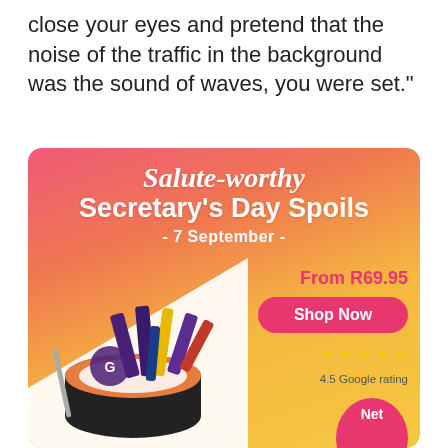close your eyes and pretend that the noise of the traffic in the background was the sound of waves, you were set."
[Figure (infographic): Advertisement banner for Secretary's Day Spoils gift sets. Pink-to-orange-to-yellow gradient background. Title reads 'Salute-worthy Secretary's Day Spoils - 7 September -'. Shows a gift set with chocolates (Flake, Dairy Milk, etc.) in a black tin with personalised lid reading 'Natasha YOU BE A [star] saver'. Price: From R69.95. Shop Now button. 4.5 Google rating with stars. Partial pink 'Net' badge at bottom right.]